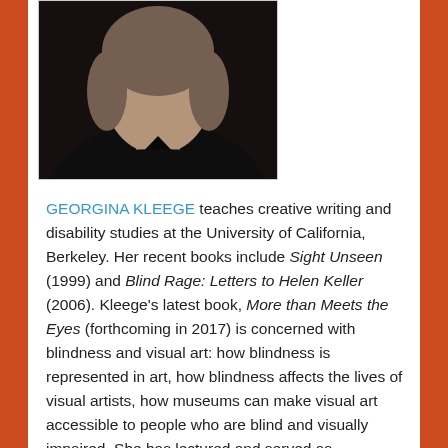[Figure (photo): Headshot of Georgina Kleege, a woman wearing a black top, photographed against a dark background]
GEORGINA KLEEGE teaches creative writing and disability studies at the University of California, Berkeley. Her recent books include Sight Unseen (1999) and Blind Rage: Letters to Helen Keller (2006). Kleege's latest book, More than Meets the Eyes (forthcoming in 2017) is concerned with blindness and visual art: how blindness is represented in art, how blindness affects the lives of visual artists, how museums can make visual art accessible to people who are blind and visually impaired. She has lectured and served as consultant to art institutions around the world including the Metropolitan Museum of Art in New York and the Tate Modern in London.
[Figure (other): Tweet button (Twitter share button)]
This entry was posted in Essays and tagged Description.